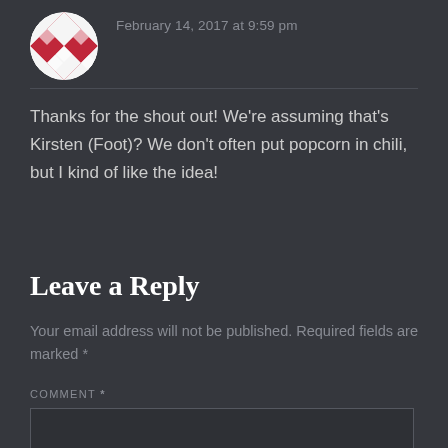February 14, 2017 at 9:59 pm
Thanks for the shout out! We're assuming that's Kirsten (Foot)? We don't often put popcorn in chili, but I kind of like the idea!
Leave a Reply
Your email address will not be published. Required fields are marked *
COMMENT *